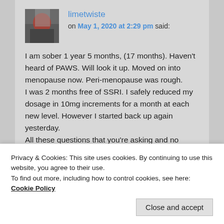limetwiste on May 1, 2020 at 2:29 pm said:
I am sober 1 year 5 months, (17 months). Haven't heard of PAWS. Will look it up. Moved on into menopause now. Peri-menopause was rough.
I was 2 months free of SSRI. I safely reduced my dosage in 10mg increments for a month at each new level. However I started back up again yesterday.
All these questions that you're asking and no wonder I feel the way I do. Plus
Privacy & Cookies: This site uses cookies. By continuing to use this website, you agree to their use.
To find out more, including how to control cookies, see here: Cookie Policy
Close and accept